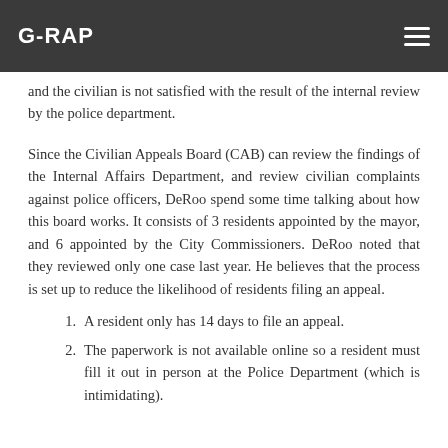G-RAP
and the civilian is not satisfied with the result of the internal review by the police department.
Since the Civilian Appeals Board (CAB) can review the findings of the Internal Affairs Department, and review civilian complaints against police officers, DeRoo spend some time talking about how this board works. It consists of 3 residents appointed by the mayor, and 6 appointed by the City Commissioners. DeRoo noted that they reviewed only one case last year. He believes that the process is set up to reduce the likelihood of residents filing an appeal.
A resident only has 14 days to file an appeal.
The paperwork is not available online so a resident must fill it out in person at the Police Department (which is intimidating).